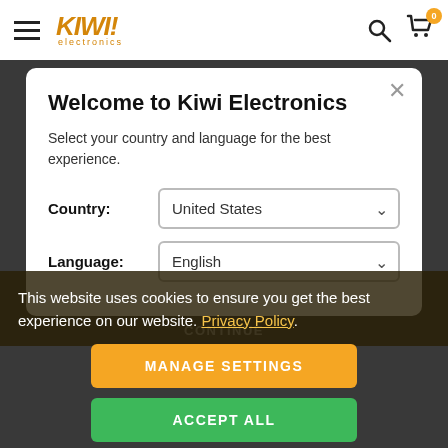KIWI! electronics — navigation bar with hamburger menu, search icon, and cart icon with badge 0
Welcome to Kiwi Electronics
Select your country and language for the best experience.
Country: United States
Language: English
This website uses cookies to ensure you get the best experience on our website. Privacy Policy.
CONTINUE
MANAGE SETTINGS
ACCEPT ALL